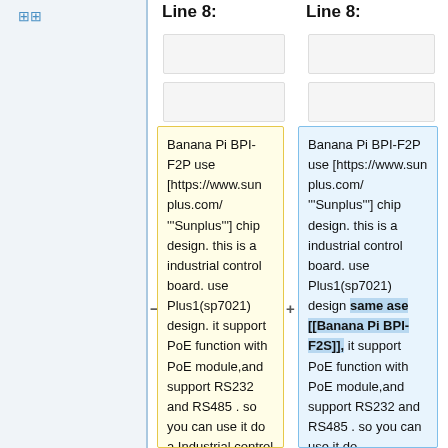oo (icon/table symbol)
Line 8:
Line 8:
Banana Pi BPI-F2P use [https://www.sunplus.com/ '''Sunplus'''] chip design. this is a industrial control board. use Plus1(sp7021) design. it support PoE function with PoE module,and support RS232 and RS485 . so you can use it do a Industrial control gateway.
Banana Pi BPI-F2P use [https://www.sunplus.com/ '''Sunplus'''] chip design. this is a industrial control board. use Plus1(sp7021) design same ase [[Banana Pi BPI-F2S]], it support PoE function with PoE module,and support RS232 and RS485 . so you can use it do